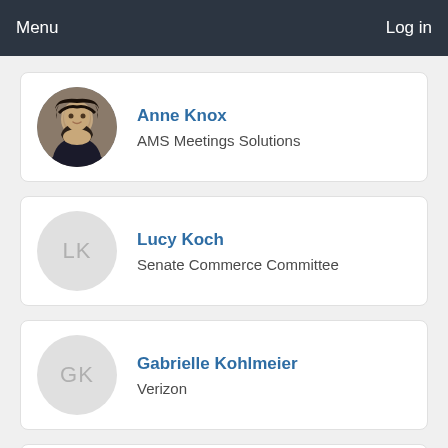Menu  Log in
Anne Knox
AMS Meetings Solutions
Lucy Koch
Senate Commerce Committee
Gabrielle Kohlmeier
Verizon